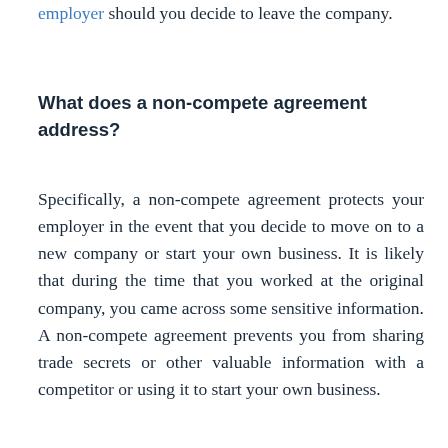employer should you decide to leave the company.
What does a non-compete agreement address?
Specifically, a non-compete agreement protects your employer in the event that you decide to move on to a new company or start your own business. It is likely that during the time that you worked at the original company, you came across some sensitive information. A non-compete agreement prevents you from sharing trade secrets or other valuable information with a competitor or using it to start your own business.